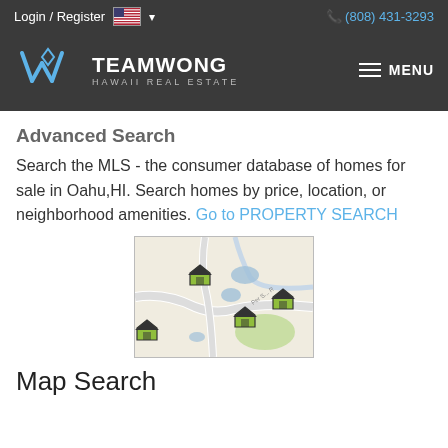Login / Register  (808) 431-3293
[Figure (logo): Team Wong Hawaii Real Estate logo with stylized W icon and MENU hamburger button]
Advanced Search
Search the MLS - the consumer database of homes for sale in Oahu,HI. Search homes by price, location, or neighborhood amenities. Go to PROPERTY SEARCH
[Figure (map): Map thumbnail showing property locations marked with house icons on a street map]
Map Search